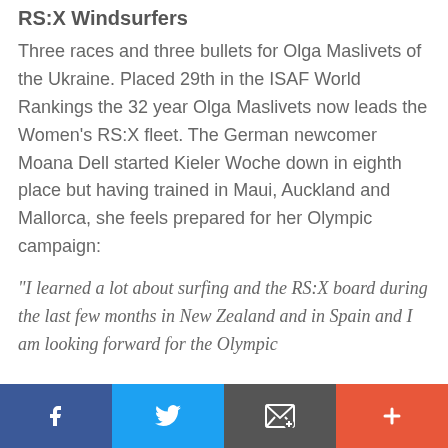RS:X Windsurfers
Three races and three bullets for Olga Maslivets of the Ukraine. Placed 29th in the ISAF World Rankings the 32 year Olga Maslivets now leads the Women's RS:X fleet. The German newcomer Moana Dell started Kieler Woche down in eighth place but having trained in Maui, Auckland and Mallorca, she feels prepared for her Olympic campaign:
"I learned a lot about surfing and the RS:X board during the last few months in New Zealand and in Spain and I am looking forward for the Olympic
Social share bar: Facebook, Twitter, Email, Add